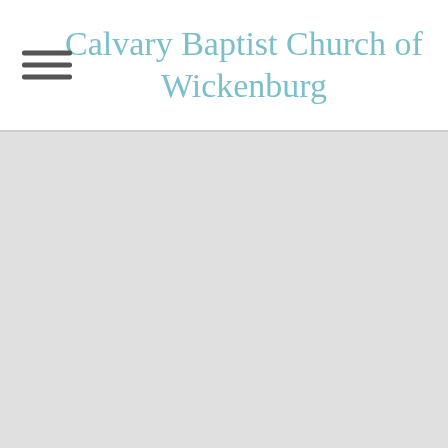Calvary Baptist Church of Wickenburg
[Figure (other): Empty light gray content area below header]